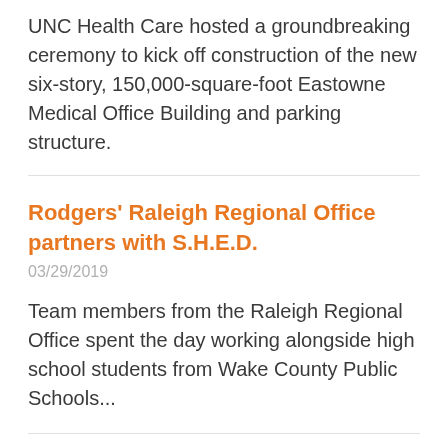UNC Health Care hosted a groundbreaking ceremony to kick off construction of the new six-story, 150,000-square-foot Eastowne Medical Office Building and parking structure.
Rodgers' Raleigh Regional Office partners with S.H.E.D.
03/29/2019
Team members from the Raleigh Regional Office spent the day working alongside high school students from Wake County Public Schools...
Duke Regional Hospital Breaks Ground